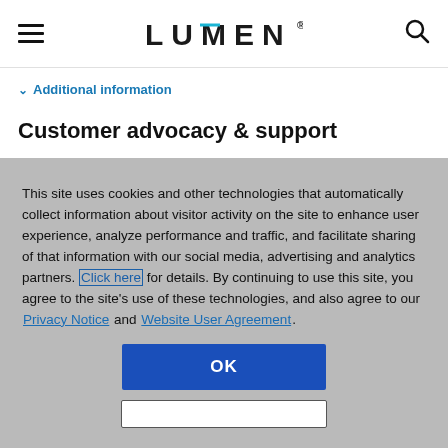LUMEN
Additional information
Customer advocacy & support
This site uses cookies and other technologies that automatically collect information about visitor activity on the site to enhance user experience, analyze performance and traffic, and facilitate sharing of that information with our social media, advertising and analytics partners. Click here for details. By continuing to use this site, you agree to the site's use of these technologies, and also agree to our Privacy Notice and Website User Agreement.
OK